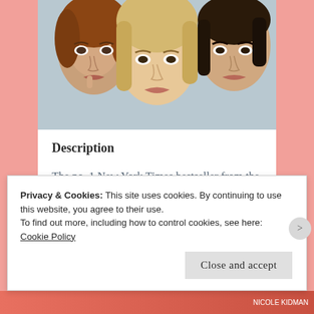[Figure (photo): Cropped photo of three women's faces close together — one brunette on left, one blonde in center, one dark-haired on right, appearing to be promotional image for Big Little Lies HBO series]
Description
The no. 1 New York Times bestseller from the author of The Husband's Secret
NOW AN HBO TELEVISION SERIES STARRING REESE WITHERSPOON & NICOLE KIDMAN
Privacy & Cookies: This site uses cookies. By continuing to use this website, you agree to their use.
To find out more, including how to control cookies, see here: Cookie Policy
Close and accept